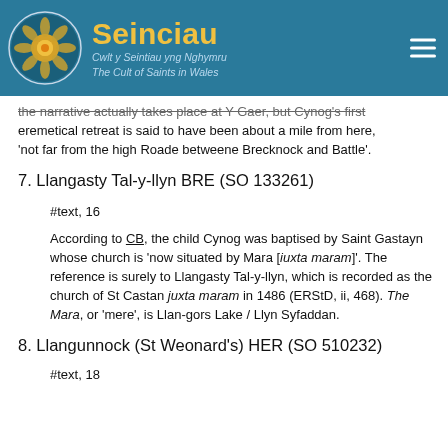Seinciau — Cwlt y Seintiau yng Nghymru / The Cult of Saints in Wales
the narrative actually takes place at Y Gaer, but Cynog's first eremetical retreat is said to have been about a mile from here, 'not far from the high Roade betweene Brecknock and Battle'.
7. Llangasty Tal-y-llyn BRE (SO 133261)
#text, 16
According to CB, the child Cynog was baptised by Saint Gastayn whose church is 'now situated by Mara [iuxta maram]'. The reference is surely to Llangasty Tal-y-llyn, which is recorded as the church of St Castan juxta maram in 1486 (ERStD, ii, 468). The Mara, or 'mere', is Llan-gors Lake / Llyn Syfaddan.
8. Llangunnock (St Weonard's) HER (SO 510232)
#text, 18